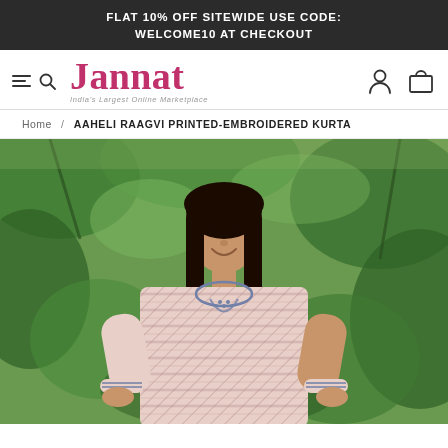FLAT 10% OFF SITEWIDE USE CODE: WELCOME10 AT CHECKOUT
[Figure (logo): Jannat logo with tagline 'India's Largest Online Marketplace', hamburger menu, search icon, user icon, and cart icon in navigation bar]
Home / AAHELI RAAGVI PRINTED-EMBROIDERED KURTA
[Figure (photo): A young woman wearing a striped pink and white printed kurta with blue embroidery at the neckline and sleeves, standing outdoors in front of green foliage]